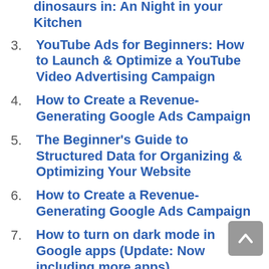(partial top item — dinosaurs in: An Night in your Kitchen)
3. YouTube Ads for Beginners: How to Launch & Optimize a YouTube Video Advertising Campaign
4. How to Create a Revenue-Generating Google Ads Campaign
5. The Beginner's Guide to Structured Data for Organizing & Optimizing Your Website
6. How to Create a Revenue-Generating Google Ads Campaign
7. How to turn on dark mode in Google apps (Update: Now including more apps)
8. Google Home tips and tricks: Master your Mini, Max, Hub and Hub Max
9. Google Home tips and tricks: Master your Nest Mini, Max, Audio, Hub and ...